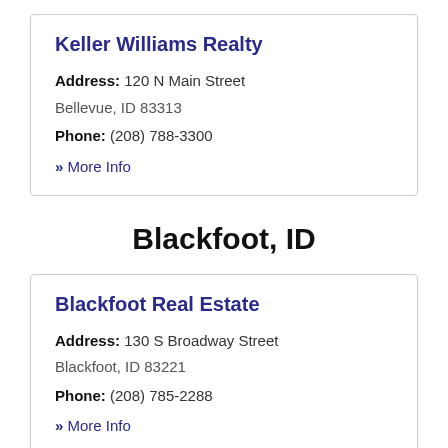Keller Williams Realty
Address: 120 N Main Street
Bellevue, ID 83313
Phone: (208) 788-3300
» More Info
Blackfoot, ID
Blackfoot Real Estate
Address: 130 S Broadway Street
Blackfoot, ID 83221
Phone: (208) 785-2288
» More Info